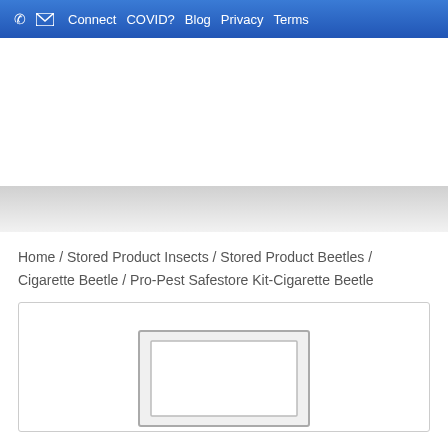Connect COVID? Blog Privacy Terms
Home / Stored Product Insects / Stored Product Beetles / Cigarette Beetle / Pro-Pest Safestore Kit-Cigarette Beetle
[Figure (photo): Product image of Pro-Pest Safestore Kit-Cigarette Beetle, partially visible at bottom of page]